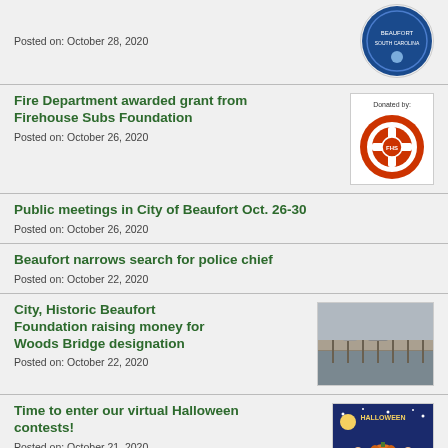Posted on: October 28, 2020
[Figure (logo): City/organization circular logo in blue]
Fire Department awarded grant from Firehouse Subs Foundation
Posted on: October 26, 2020
[Figure (logo): Firehouse Subs Foundation logo with 'Donated by:' text]
Public meetings in City of Beaufort Oct. 26-30
Posted on: October 26, 2020
Beaufort narrows search for police chief
Posted on: October 22, 2020
City, Historic Beaufort Foundation raising money for Woods Bridge designation
Posted on: October 22, 2020
[Figure (photo): Aerial view of Woods Bridge over water, gray tones]
Time to enter our virtual Halloween contests!
Posted on: October 21, 2020
[Figure (illustration): Halloween-themed colorful illustration with children in costumes]